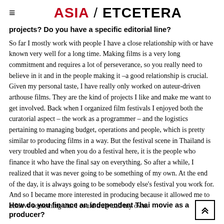ASIA / ETCETERA
projects? Do you have a specific editorial line?
So far I mostly work with people I have a close relationship with or have known very well for a long time. Making films is a very long commitment and requires a lot of perseverance, so you really need to believe in it and in the people making it –a good relationship is crucial. Given my personal taste, I have really only worked on auteur-driven arthouse films. They are the kind of projects I like and make me want to get involved. Back when I organized film festivals I enjoyed both the curatorial aspect – the work as a programmer – and the logistics pertaining to managing budget, operations and people, which is pretty similar to producing films in a way. But the festival scene in Thailand is very troubled and when you do a festival here, it is the people who finance it who have the final say on everything. So after a while, I realized that it was never going to be something of my own. At the end of the day, it is always going to be somebody else's festival you work for. And so I became more interested in producing because it allowed me to achieve something that I could truly call my own.
How do you finance an independent Thai movie as a producer?